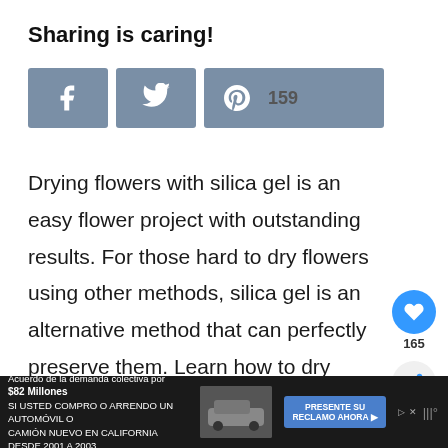Sharing is caring!
[Figure (infographic): Social sharing buttons: Facebook (grey square with f icon), Twitter (grey square with bird icon), Pinterest (grey wide button with P icon and count 159)]
Drying flowers with silica gel is an easy flower project with outstanding results. For those hard to dry flowers using other methods, silica gel is an alternative method that can perfectly preserve them. Learn how to dry flowers with silica gel to preserve your precious blooms.
[Figure (infographic): Heart widget showing 165 likes in a blue circle, and a share icon below]
[Figure (infographic): Advertisement bar at bottom: Acuerdo de la demanda colectiva por $82 Millones SI USTED COMPRO O ARRENDO UN AUTOMOVIL O CAMION NUEVO EN CALIFORNIA DESDE 2001 A 2003, with car image and PRESENTE SU RECLAMO AHORA button]